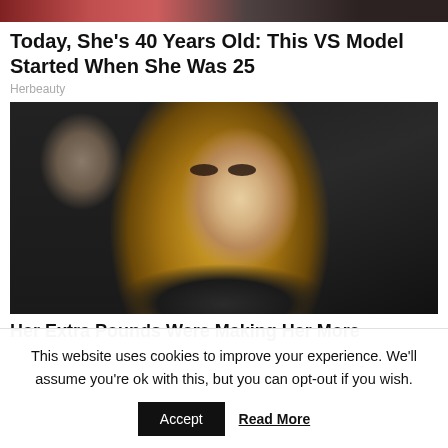[Figure (photo): Top cropped image strip showing partial view of persons, red/dark background]
Today, She’s 40 Years Old: This VS Model Started When She Was 25
Herbeauty
[Figure (photo): Photo of a blonde woman with heavy eye makeup, wearing black, standing next to a man in black shirt]
Her Extra Pounds Were Making Her More
This website uses cookies to improve your experience. We’ll assume you’re ok with this, but you can opt-out if you wish.
Accept   Read More